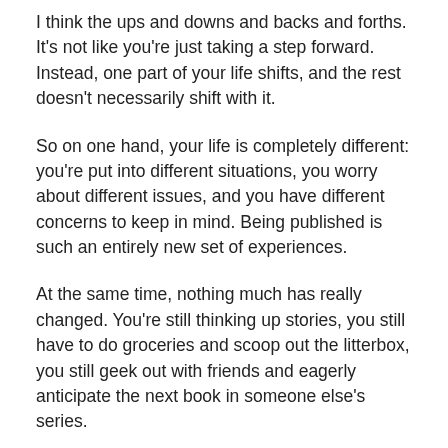I think the ups and downs and backs and forths. It’s not like you’re just taking a step forward. Instead, one part of your life shifts, and the rest doesn’t necessarily shift with it.
So on one hand, your life is completely different: you’re put into different situations, you worry about different issues, and you have different concerns to keep in mind. Being published is such an entirely new set of experiences.
At the same time, nothing much has really changed. You’re still thinking up stories, you still have to do groceries and scoop out the litterbox, you still geek out with friends and eagerly anticipate the next book in someone else’s series.